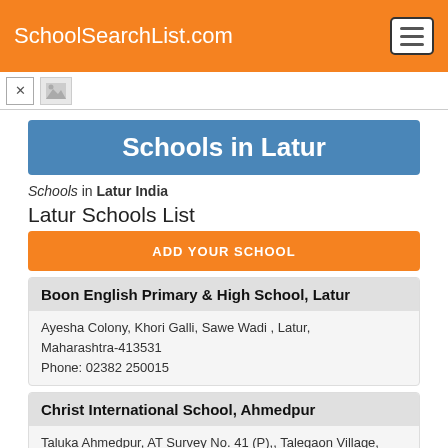SchoolSearchList.com
Schools in Latur
Schools in Latur India
Latur Schools List
ADD YOUR SCHOOL
Boon English Primary & High School, Latur
Ayesha Colony, Khori Galli, Sawe Wadi , Latur, Maharashtra-413531
Phone: 02382 250015
Christ International School, Ahmedpur
Taluka Ahmedpur, AT Survey No. 41 (P),, Talegaon Village, Latur, Maharashtra